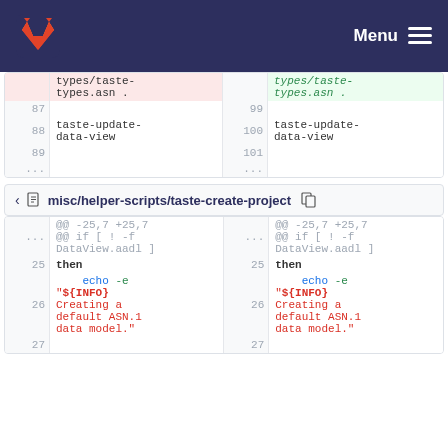GitLab — Menu
| old line | old code | new line | new code |
| --- | --- | --- | --- |
|  | types/taste-types.asn . |  | types/taste-types.asn . |
| 87 |  | 99 |  |
| 88 | taste-update-data-view | 100 | taste-update-data-view |
| 89 |  | 101 |  |
| ... |  | ... |  |
misc/helper-scripts/taste-create-project
| old line | old code | new line | new code |
| --- | --- | --- | --- |
| ... | @@ -25,7 +25,7
@@ if [ ! -f
DataView.aadl ] | ... | @@ -25,7 +25,7
@@ if [ ! -f
DataView.aadl ] |
| 25 | then | 25 | then |
| 26 |     echo -e
"${INFO}
Creating a
default ASN.1
data model." | 26 |     echo -e
"${INFO}
Creating a
default ASN.1
data model." |
| 27 |  | 27 |  |